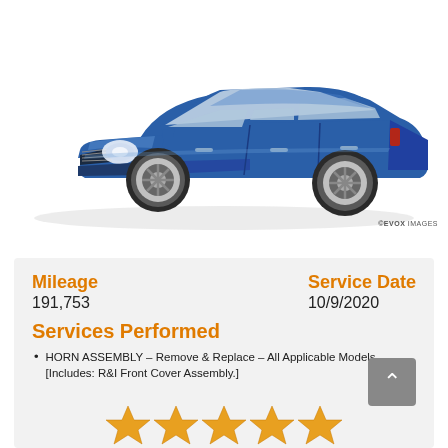[Figure (photo): Blue Chrysler sedan (Sebring), 3/4 front view on white background]
©EVOX IMAGES
Mileage
191,753
Service Date
10/9/2020
Services Performed
HORN ASSEMBLY – Remove & Replace – All Applicable Models – [Includes: R&I Front Cover Assembly.]
[Figure (illustration): 5 gold/orange star rating icons]